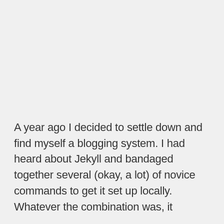A year ago I decided to settle down and find myself a blogging system. I had heard about Jekyll and bandaged together several (okay, a lot) of novice commands to get it set up locally. Whatever the combination was, it